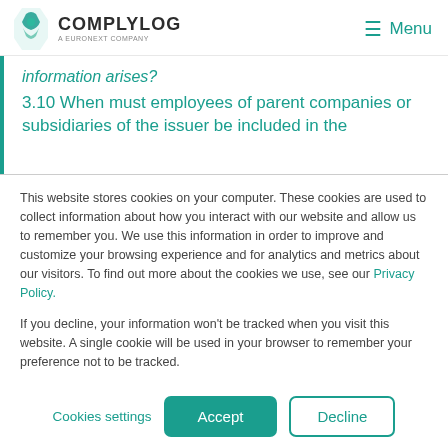COMPLYLOG — A EURONEXT COMPANY | Menu
information arises?
3.10 When must employees of parent companies or subsidiaries of the issuer be included in the
This website stores cookies on your computer. These cookies are used to collect information about how you interact with our website and allow us to remember you. We use this information in order to improve and customize your browsing experience and for analytics and metrics about our visitors. To find out more about the cookies we use, see our Privacy Policy.
If you decline, your information won't be tracked when you visit this website. A single cookie will be used in your browser to remember your preference not to be tracked.
Cookies settings | Accept | Decline